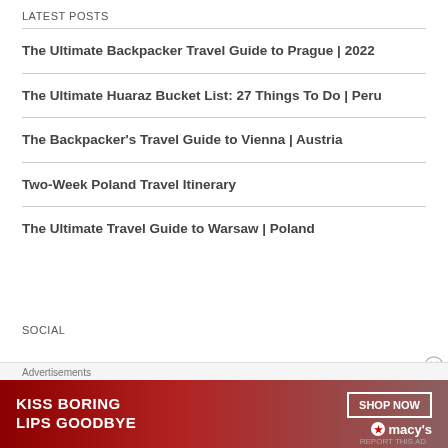LATEST POSTS
The Ultimate Backpacker Travel Guide to Prague | 2022
The Ultimate Huaraz Bucket List: 27 Things To Do | Peru
The Backpacker's Travel Guide to Vienna | Austria
Two-Week Poland Travel Itinerary
The Ultimate Travel Guide to Warsaw | Poland
SOCIAL
[Figure (other): Advertisement banner: KISS BORING LIPS GOODBYE - SHOP NOW - macy's]